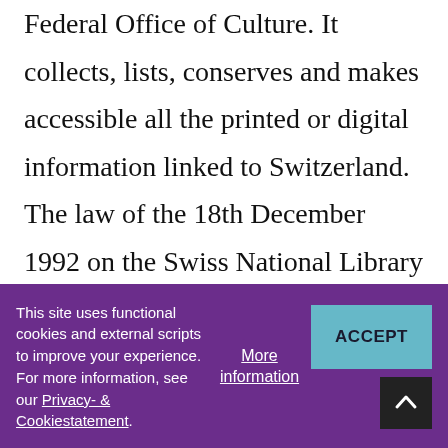Federal Office of Culture. It collects, lists, conserves and makes accessible all the printed or digital information linked to Switzerland. The law of the 18th December 1992 on the Swiss National Library constitutes its legal basis. It mentions: “The National Library oversees that all the Swiss publications are accessible to researchers, Swiss or Foreign, and that
This site uses functional cookies and external scripts to improve your experience. For more information, see our Privacy- & Cookiestatement.
More information
ACCEPT